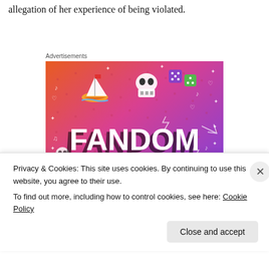allegation of her experience of being violated.
Advertisements
[Figure (illustration): Colorful advertisement for 'Fandom on Tumblr' with gradient background from orange to purple, featuring doodles of a sailboat, skull, dice, and decorative elements with large bold text reading FANDOM ON tumblr]
Privacy & Cookies: This site uses cookies. By continuing to use this website, you agree to their use.
To find out more, including how to control cookies, see here: Cookie Policy